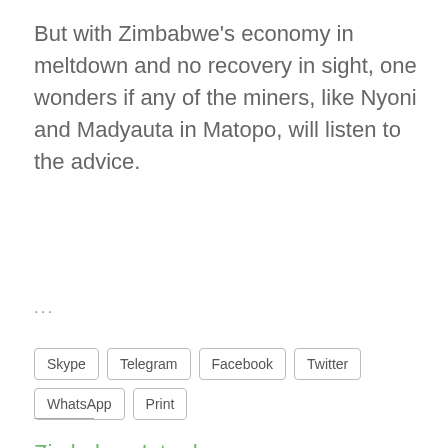But with Zimbabwe's economy in meltdown and no recovery in sight, one wonders if any of the miners, like Nyoni and Madyauta in Matopo, will listen to the advice.
...
Skype
Telegram
Facebook
Twitter
WhatsApp
Print
Zimbabwe Introduces Gold Coins in Hopes of Reducing Demand for US Dollar